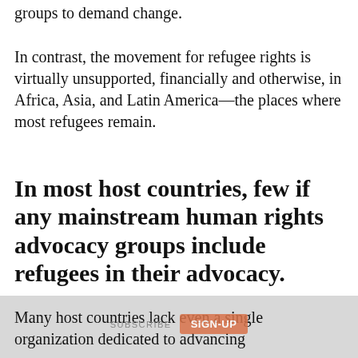OpenGlobalRights
groups to demand change.
In contrast, the movement for refugee rights is virtually unsupported, financially and otherwise, in Africa, Asia, and Latin America—the places where most refugees remain.
In most host countries, few if any mainstream human rights advocacy groups include refugees in their advocacy.
Many host countries lack even a single organization dedicated to advancing